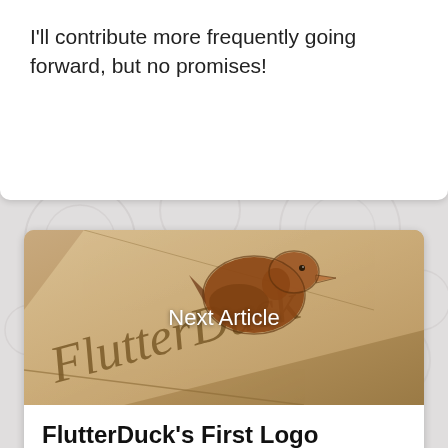I'll contribute more frequently going forward, but no promises!
[Figure (photo): FlutterDuck logo engraved on wood/paper with a duck illustration. Text 'Next Article' overlaid in white.]
FlutterDuck's First Logo
FlutterDuck finally has a logo! It's not the best